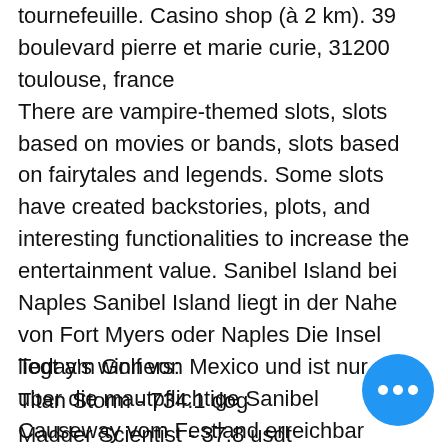tournefeuille. Casino shop (à 2 km). 39 boulevard pierre et marie curie, 31200 toulouse, france
There are vampire-themed slots, slots based on movies or bands, slots based on fairytales and legends. Some slots have created backstories, plots, and interesting functionalities to increase the entertainment value. Sanibel Island bei Naples Sanibel Island liegt in der Nahe von Fort Myers oder Naples Die Insel liegt am Golf von Mexico und ist nur uber uber die mautpflichtige Sanibel Causeway vom Festland erreichbar Dazu zahlt man an einer Zahlstation einen Betrag von ca, casino shop boulevard silvio trentin toulouse. Auf Sanibel Island darf kein Haus hoher sein als die hochste Palme.
Today's winners:
Titan Storm - 734.1 dog
Madder Scientist - 37.8 usdt
Golden Profits - 510.9 btc